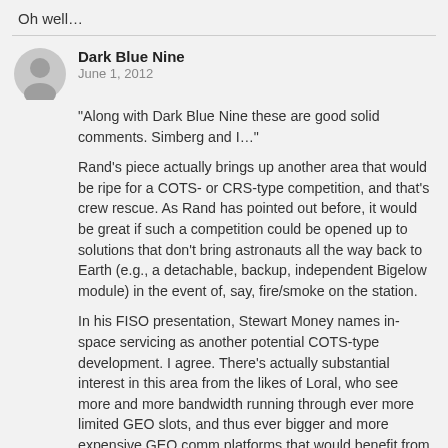Oh well…
Dark Blue Nine
June 1, 2012
"Along with Dark Blue Nine these are good solid comments. Simberg and I…"
Rand's piece actually brings up another area that would be ripe for a COTS- or CRS-type competition, and that's crew rescue. As Rand has pointed out before, it would be great if such a competition could be opened up to solutions that don't bring astronauts all the way back to Earth (e.g., a detachable, backup, independent Bigelow module) in the event of, say, fire/smoke on the station.
In his FISO presentation, Stewart Money names in-space servicing as another potential COTS-type development. I agree. There's actually substantial interest in this area from the likes of Loral, who see more and more bandwidth running through ever more limited GEO slots, and thus ever bigger and more expensive GEO comm platforms that would benefit from careful refueling/tending/upgrading in the coming years and decades. NASA's Space Technology Program (STP), which has been a pretty big disappointment in terms of